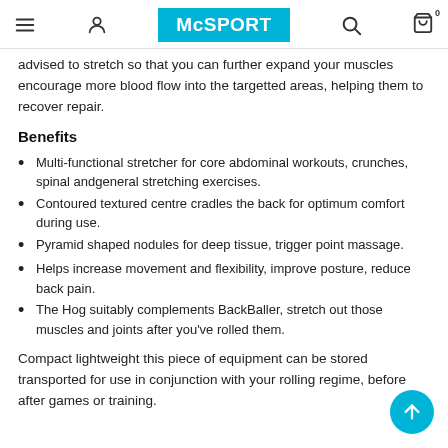McSPORT
advised to stretch so that you can further expand your muscles encourage more blood flow into the targetted areas, helping them to recover repair.
Benefits
Multi-functional stretcher for core abdominal workouts, crunches, spinal andgeneral stretching exercises.
Contoured textured centre cradles the back for optimum comfort during use.
Pyramid shaped nodules for deep tissue, trigger point massage.
Helps increase movement and flexibility, improve posture, reduce back pain.
The Hog suitably complements BackBaller, stretch out those muscles and joints after you've rolled them.
Compact lightweight this piece of equipment can be stored transported for use in conjunction with your rolling regime, before after games or training.